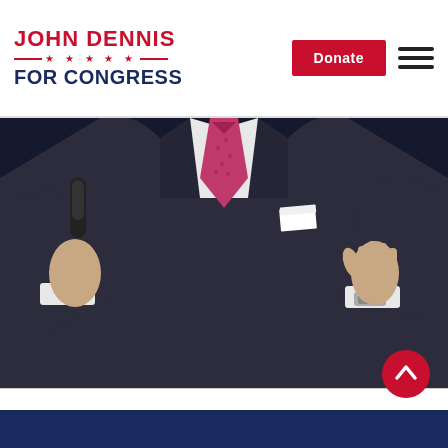JOHN DENNIS FOR CONGRESS — Donate [nav]
[Figure (photo): Man in dark suit with red tie holding microphone at a podium, torso and hands visible, dark background]
[Figure (other): Scroll-to-top button: red circle with white upward chevron/arrow icon]
Dark navy footer bar